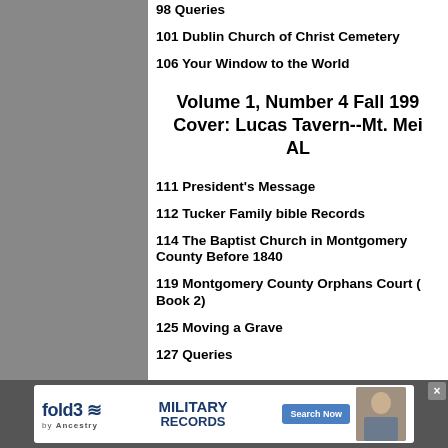98 Queries
101 Dublin Church of Christ Cemetery
106 Your Window to the World
Volume 1, Number 4 Fall 199
Cover: Lucas Tavern--Mt. Mei
AL
111 President's Message
112 Tucker Family bible Records
114 The Baptist Church in Montgomery County Before 1840
119 Montgomery County Orphans Court ( Book 2)
125 Moving a Grave
127 Queries